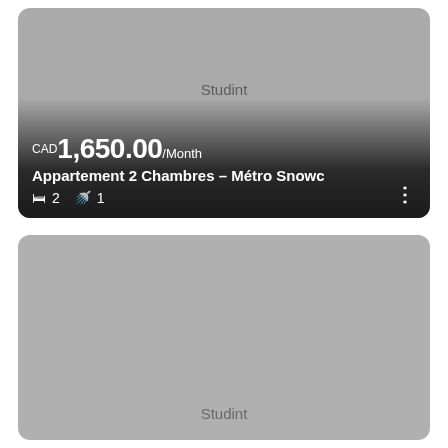[Figure (screenshot): Rental listing card showing an apartment photo with gray placeholder image, price CAD 1,650.00/Month, title 'Appartement 2 Chambres – Métro Snowc', 2 bedrooms, 1 bathroom, Studint watermark]
Studint
CAD 1,650.00/Month
Appartement 2 Chambres – Métro Snowc
2  1
[Figure (screenshot): Second rental listing card showing a gray placeholder image with Studint watermark at the bottom, partially visible]